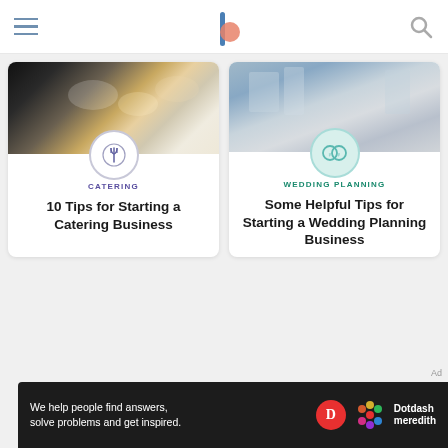[Navigation header with hamburger menu, logo, and search icon]
[Figure (screenshot): Card with food/catering image showing dishes on a table with a fork-knife icon circle badge]
CATERING
10 Tips for Starting a Catering Business
[Figure (screenshot): Card with wedding planning image showing glasses with a wedding rings icon circle badge]
WEDDING PLANNING
Some Helpful Tips for Starting a Wedding Planning Business
Ad
[Figure (logo): Dotdash Meredith ad banner: 'We help people find answers, solve problems and get inspired.' with Dotdash Meredith logo]